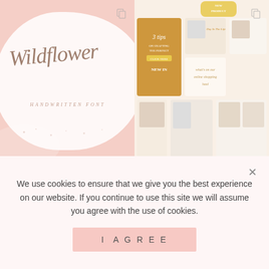[Figure (illustration): Pink background with white cloud-shaped blob containing cursive 'Wildflower' text in taupe/brown, with subtitle 'HANDWRITTEN FONT' in small caps. Copy icon in top right corner.]
[Figure (screenshot): Instagram story templates in gold/mustard and cream tones with text overlays like '3 tips', 'NEW IN', 'what's on our', 'online shopping haul'. Copy icon in top right corner.]
[Figure (illustration): White business card on grey background featuring cursive 'petite publishing co' logo with sparkle/star ring decoration. Copy icon in top right corner.]
[Figure (illustration): Light peach/cream background with bold pink serif text reading 'Daze & + Magic' with small gold italic subtitle text.]
We use cookies to ensure that we give you the best experience on our website. If you continue to use this site we will assume you agree with the use of cookies.
I AGREE